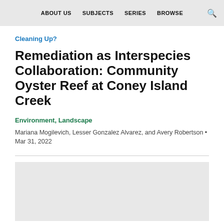ABOUT US   SUBJECTS   SERIES   BROWSE
Cleaning Up?
Remediation as Interspecies Collaboration: Community Oyster Reef at Coney Island Creek
Environment, Landscape
Mariana Mogilevich, Lesser Gonzalez Alvarez, and Avery Robertson • Mar 31, 2022
[Figure (photo): Light gray placeholder image area below the article metadata]